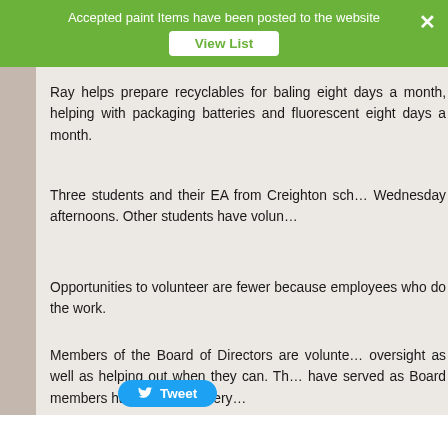Accepted paint Items have been posted to the website
Ray helps prepare recyclables for baling eight days a month, helping with packaging batteries and fluorescent eight days a month.
Three students and their EA from Creighton school volunteer Wednesday afternoons. Other students have volunteered.
Opportunities to volunteer are fewer because employees who do the work.
Members of the Board of Directors are volunteers providing oversight as well as helping out when they can. Those who have served as Board members have created a very...